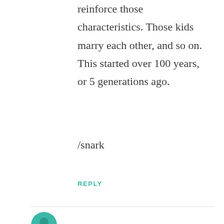reinforce those characteristics. Those kids marry each other, and so on. This started over 100 years, or 5 generations ago.
/snark
REPLY